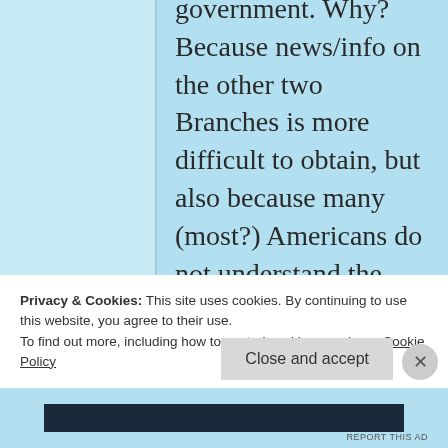government. Why? Because news/info on the other two Branches is more difficult to obtain, but also because many (most?) Americans do not understand the other 2/3rds of their own government
Privacy & Cookies: This site uses cookies. By continuing to use this website, you agree to their use.
To find out more, including how to control cookies, see here: Cookie Policy
Close and accept